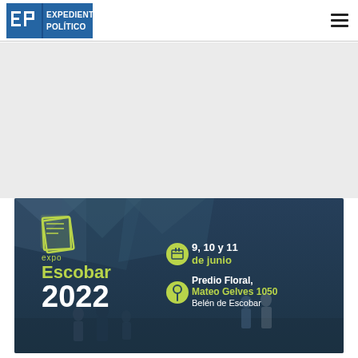[Figure (logo): Expediente Político logo — EP initials in blue/white box followed by text EXPEDIENTE POLÍTICO]
[Figure (infographic): Expo Escobar 2022 promotional banner. Shows event name, logo (stacked pages icon in green), dates 9, 10 y 11 de junio, location Predio Floral, Mateo Gelves 1050, Belén de Escobar. Dark blue background with tent/pavilion silhouette and people walking.]